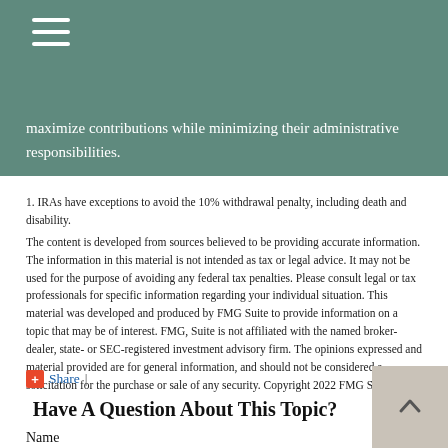maximize contributions while minimizing their administrative responsibilities.
1. IRAs have exceptions to avoid the 10% withdrawal penalty, including death and disability.
The content is developed from sources believed to be providing accurate information. The information in this material is not intended as tax or legal advice. It may not be used for the purpose of avoiding any federal tax penalties. Please consult legal or tax professionals for specific information regarding your individual situation. This material was developed and produced by FMG Suite to provide information on a topic that may be of interest. FMG, Suite is not affiliated with the named broker-dealer, state- or SEC-registered investment advisory firm. The opinions expressed and material provided are for general information, and should not be considered a solicitation for the purchase or sale of any security. Copyright 2022 FMG Suite.
Share |
Have A Question About This Topic?
Name